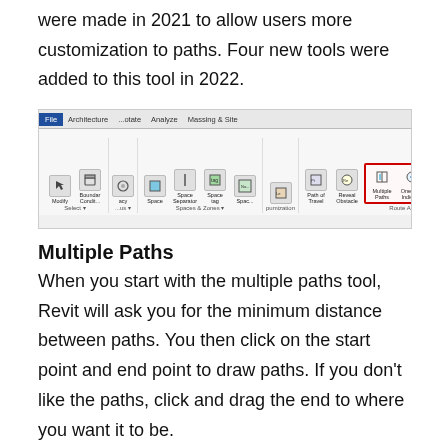were made in 2021 to allow users more customization to paths. Four new tools were added to this tool in 2022.
[Figure (screenshot): Screenshot of Revit ribbon toolbar showing Route Analysis group with Multiple Paths, One Way Indicator, People Content, and Spatial Grid tools highlighted with a red box.]
Multiple Paths
When you start with the multiple paths tool, Revit will ask you for the minimum distance between paths. You then click on the start point and end point to draw paths. If you don't like the paths, click and drag the end to where you want it to be.